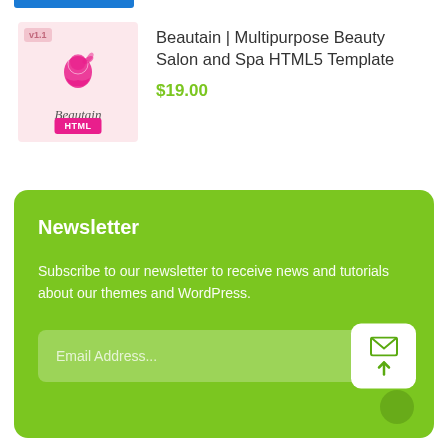[Figure (logo): Beautain beauty salon logo with pink woman silhouette, version badge v1.1, and HTML badge]
Beautain | Multipurpose Beauty Salon and Spa HTML5 Template
$19.00
Newsletter
Subscribe to our newsletter to receive news and tutorials about our themes and WordPress.
Email Address...